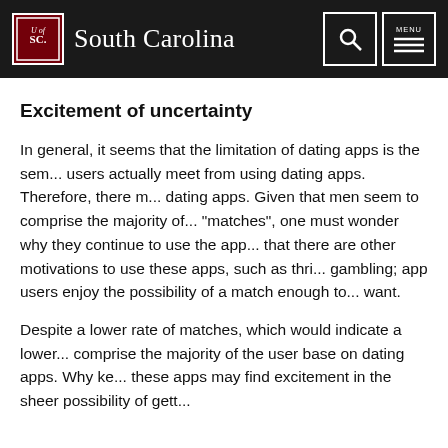University of South Carolina
Excitement of uncertainty
In general, it seems that the limitation of dating apps is the sem... users actually meet from using dating apps. Therefore, there m... dating apps. Given that men seem to comprise the majority of... "matches", one must wonder why they continue to use the app... that there are other motivations to use these apps, such as thri... gambling; app users enjoy the possibility of a match enough to... want.
Despite a lower rate of matches, which would indicate a lower... comprise the majority of the user base on dating apps. Why ke... these apps may find excitement in the sheer possibility of gett...